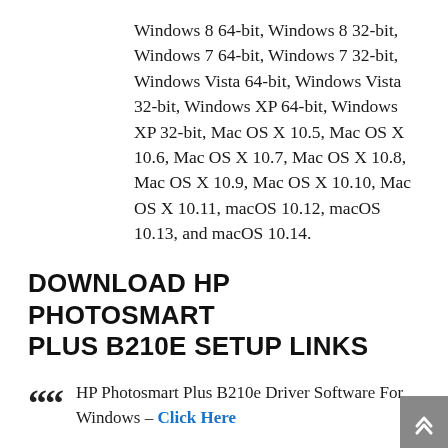Windows 8 64-bit, Windows 8 32-bit, Windows 7 64-bit, Windows 7 32-bit, Windows Vista 64-bit, Windows Vista 32-bit, Windows XP 64-bit, Windows XP 32-bit, Mac OS X 10.5, Mac OS X 10.6, Mac OS X 10.7, Mac OS X 10.8, Mac OS X 10.9, Mac OS X 10.10, Mac OS X 10.11, macOS 10.12, macOS 10.13, and macOS 10.14.
DOWNLOAD HP PHOTOSMART PLUS B210E SETUP LINKS
HP Photosmart Plus B210e Driver Software For Windows – Click Here
HP Photosmart Plus B210e Driver Software For Mac OS – Click Here
HP Photosmart Plus B210e Driver Software For Linux – Click Here